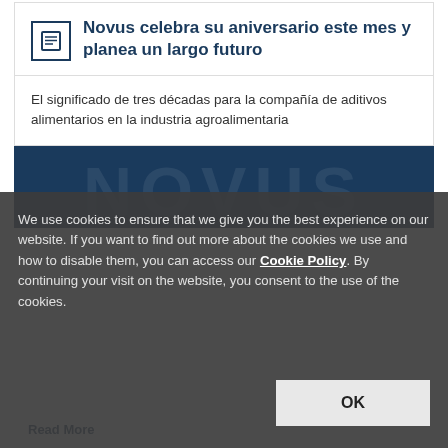Novus celebra su aniversario este mes y planea un largo futuro
El significado de tres décadas para la compañía de aditivos alimentarios en la industria agroalimentaria
[Figure (photo): Dark blue/navy background section representing an image placeholder]
We use cookies to ensure that we give you the best experience on our website. If you want to find out more about the cookies we use and how to disable them, you can access our Cookie Policy. By continuing your visit on the website, you consent to the use of the cookies.
Read More